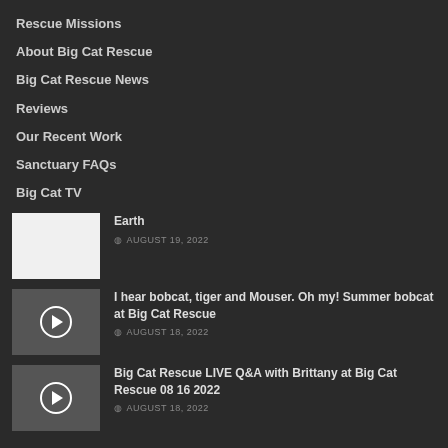Rescue Missions
About Big Cat Rescue
Big Cat Rescue News
Reviews
Our Recent Work
Sanctuary FAQs
Big Cat TV
[Figure (photo): White/blank thumbnail for Earth post]
Earth
AUGUST 19, 2022
[Figure (photo): Dark thumbnail with play button for bobcat video]
I hear bobcat, tiger and Mouser. Oh my! Summer bobcat at Big Cat Rescue
AUGUST 18, 2022
[Figure (photo): Dark thumbnail with play button for LIVE Q&A video]
Big Cat Rescue LIVE Q&A with Brittany at Big Cat Rescue 08 16 2022
AUGUST 18, 2022